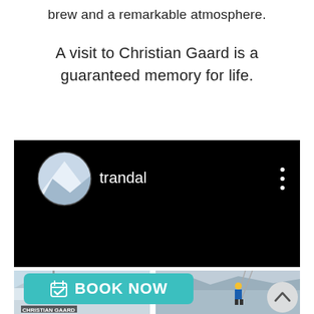brew and a remarkable atmosphere.
A visit to Christian Gaard is a guaranteed memory for life.
[Figure (screenshot): A social media video post with a black background. Shows a circular profile photo of a snowy mountain scene. Username 'trandal' shown in white text. Three vertical dots menu icon on the right.]
[Figure (photo): Two photos side by side at the bottom. Left photo shows a snowy scene with a sign reading 'CHRISTIAN GAARD'. Right photo shows a person in outdoor gear hanging from ropes with mountains in the background. A teal 'BOOK NOW' button overlays the bottom center. A circular back-to-top arrow button is on the bottom right.]